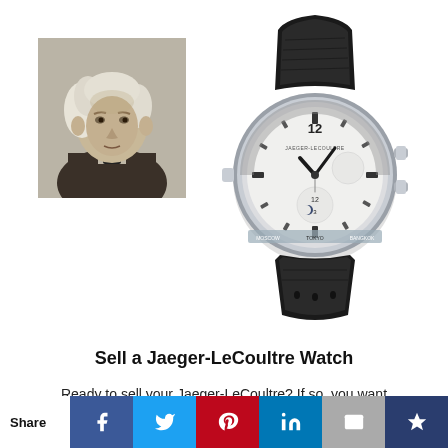[Figure (photo): Black and white portrait of a man with white curly hair, wearing dark clothing and a bow tie — historical portrait of the founder of Jaeger-LeCoultre]
[Figure (photo): A Jaeger-LeCoultre luxury watch with a white dial, multiple complications, black alligator strap, and steel case]
Sell a Jaeger-LeCoultre Watch
Ready to sell your Jaeger-LeCoultre? If so, you want
Share  [Facebook] [Twitter] [Pinterest] [LinkedIn] [Email] [Crown/Fancy]